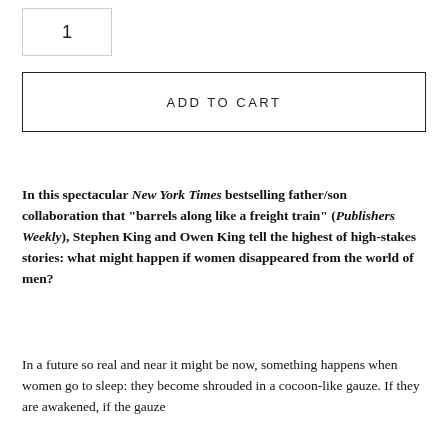1
ADD TO CART
In this spectacular New York Times bestselling father/son collaboration that “barrels along like a freight train” (Publishers Weekly), Stephen King and Owen King tell the highest of high-stakes stories: what might happen if women disappeared from the world of men?
In a future so real and near it might be now, something happens when women go to sleep: they become shrouded in a cocoon-like gauze. If they are awakened, if the gauze